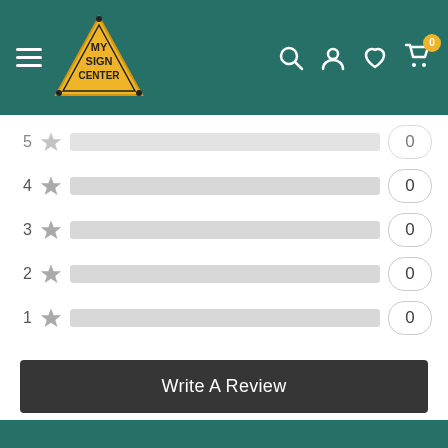My Sign Center — navigation header
[Figure (infographic): Star rating breakdown: 5 rows for ratings 4,3,2,1 stars each showing a gray bar and count of 0]
4 ★  0
3 ★  0
2 ★  0
1 ★  0
Write A Review
Be the first to review this item
FREE SHIPPING
on orders $50+